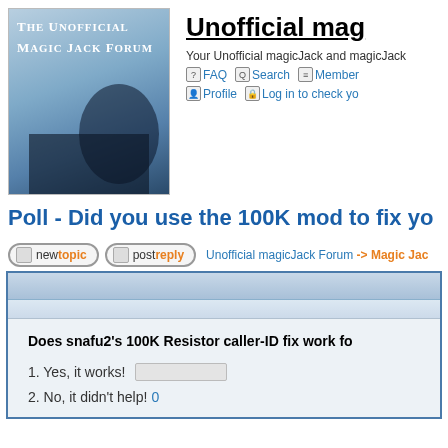[Figure (logo): The Unofficial Magic Jack Forum logo with magician hands and top hat on blue background]
Unofficial mag...
Your Unofficial magicJack and magicJack...
FAQ  Search  Members...
Profile  Log in to check yo...
Poll - Did you use the 100K mod to fix yo...
newtopic  postreply  Unofficial magicJack Forum -> Magic Jac...
Does snafu2's 100K Resistor caller-ID fix work fo...
1. Yes, it works!
2. No, it didn't help! 0